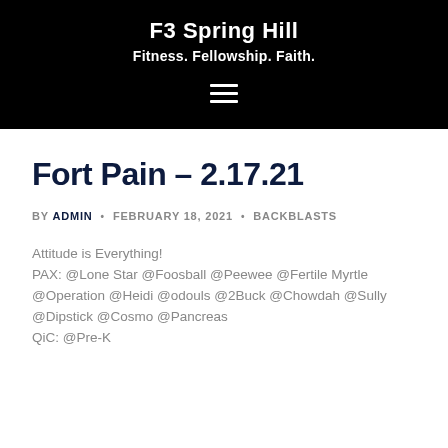F3 Spring Hill
Fitness. Fellowship. Faith.
Fort Pain – 2.17.21
BY ADMIN · FEBRUARY 18, 2021 · BACKBLASTS
Attitude is Everything!
PAX: @Lone Star @Foosball @Peewee @Fertile Myrtle @Operation @Heidi @odouls @2Buck @Chowdah @Sully @Dipstick @Cosmo @Pancreas
QiC: @Pre-K